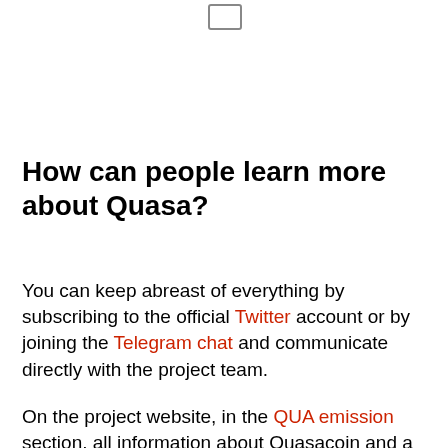How can people learn more about Quasa?
You can keep abreast of everything by subscribing to the official Twitter account or by joining the Telegram chat and communicate directly with the project team.
On the project website, in the QUA emission section, all information about Quasacoin and a